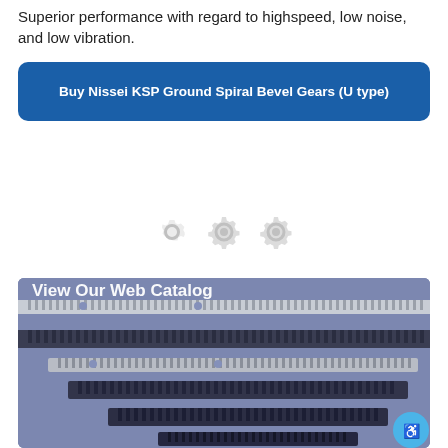Superior performance with regard to highspeed, low noise, and low vibration.
Buy Nissei KSP Ground Spiral Bevel Gears (U type)
[Figure (illustration): Three grey gear/cog placeholder icons indicating loading or unavailable content]
[Figure (photo): Photo of multiple rack and pinion gear components of various sizes arranged on a blue-purple background, with 'View Our Web Catalog' text overlay and accessibility icon button]